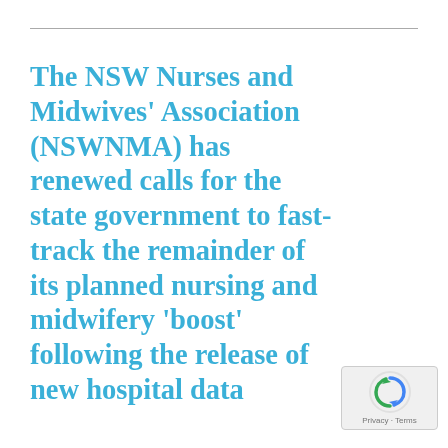The NSW Nurses and Midwives' Association (NSWNMA) has renewed calls for the state government to fast-track the remainder of its planned nursing and midwifery 'boost' following the release of new hospital data